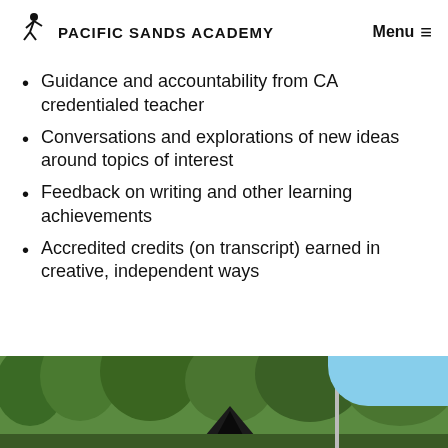PACIFIC SANDS ACADEMY  Menu ≡
Guidance and accountability from CA credentialed teacher
Conversations and explorations of new ideas around topics of interest
Feedback on writing and other learning achievements
Accredited credits (on transcript) earned in creative, independent ways
[Figure (photo): Outdoor nature scene with trees and what appears to be a tent or cabin structure, with blue sky visible in the upper right]